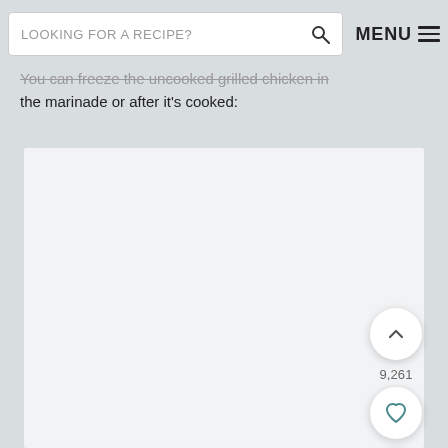LOOKING FOR A RECIPE? [search] MENU ≡
You can freeze the uncooked grilled chicken in the marinade or after it's cooked:
[Figure (photo): Large light gray placeholder image area showing recipe content]
9,261